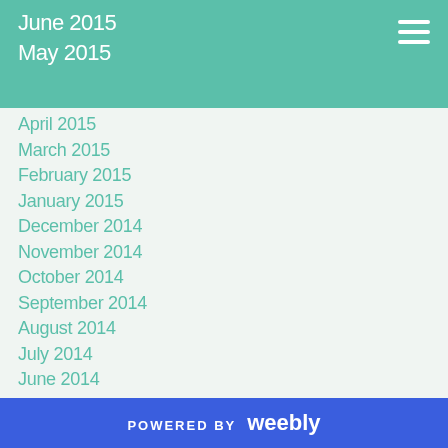June 2015
May 2015
April 2015
March 2015
February 2015
January 2015
December 2014
November 2014
October 2014
September 2014
August 2014
July 2014
June 2014
May 2014
April 2014
March 2014
February 2014
January 2014
December 2013
POWERED BY weebly